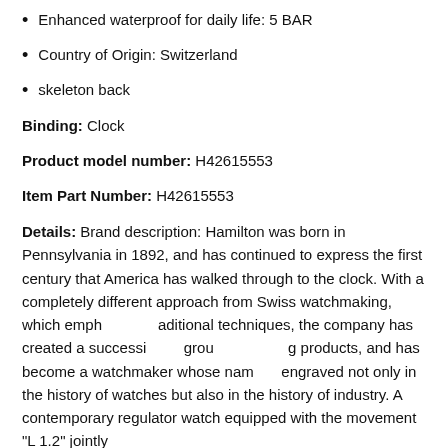Enhanced waterproof for daily life: 5 BAR
Country of Origin: Switzerland
skeleton back
Binding: Clock
Product model number: H42615553
Item Part Number: H42615553
Details: Brand description: Hamilton was born in Pennsylvania in 1892, and has continued to express the first century that America has walked through to the clock. With a completely different approach from Swiss watchmaking, which emphasizes traditional techniques, the company has created a succession of groundbreaking products, and has become a watchmaker whose name is engraved not only in the history of watches but also in the history of industry. A contemporary regulator watch equipped with the movement "L 1.2" jointly